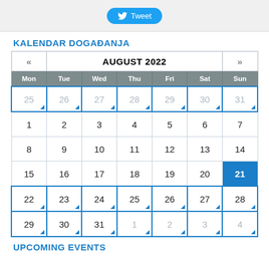[Figure (other): Tweet button with Twitter bird icon on gray background bar]
KALENDAR DOGAĐANJA
| Mon | Tue | Wed | Thu | Fri | Sat | Sun |
| --- | --- | --- | --- | --- | --- | --- |
| 25 | 26 | 27 | 28 | 29 | 30 | 31 |
| 1 | 2 | 3 | 4 | 5 | 6 | 7 |
| 8 | 9 | 10 | 11 | 12 | 13 | 14 |
| 15 | 16 | 17 | 18 | 19 | 20 | 21 |
| 22 | 23 | 24 | 25 | 26 | 27 | 28 |
| 29 | 30 | 31 | 1 | 2 | 3 | 4 |
UPCOMING EVENTS